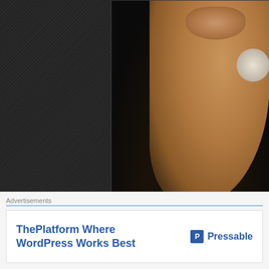[Figure (photo): Close-up partial photo of Miss Angola Leila Lopes — dark wavy hair, glossy lips, large round earring, warm brown skin tone against dark background]
Miss Angola Leila Lopes
[Figure (photo): Second photo card showing top of a person's head with dark hair, partially visible, white/light background at top]
Advertisements
[Figure (screenshot): Advertisement banner: 'ThePlatform Where WordPress Works Best' with Pressable logo (blue P icon)]